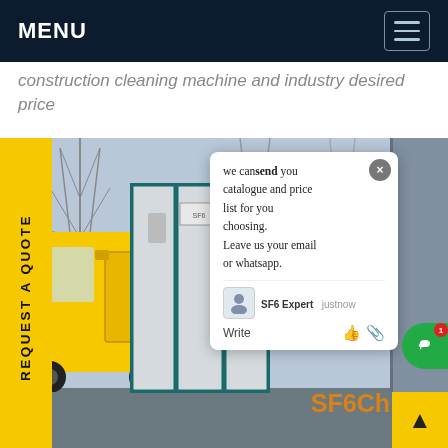MENU
construction cleaning machine and factory desired price
[Figure (photo): A yellow truck and SF6 electrical equipment cabinet (white with teal frame) at a substation site with power transmission structures in background. Contains a live chat popup from SF6 Expert saying 'we can send you catalogue and price list for you choosing. Leave us your email or whatsapp.' with a Write field. A yellow vertical sidebar reads 'REQUEST A QUOTE'. SF6CH text visible at bottom right. Back to top arrow button in bottom right corner.]